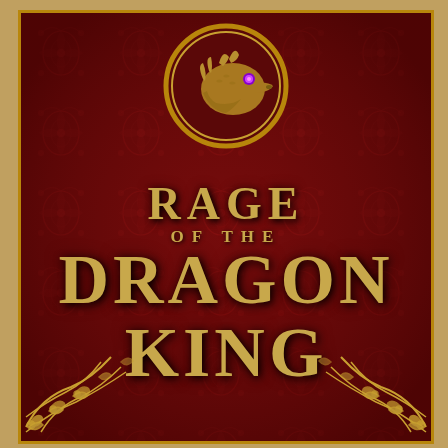[Figure (illustration): Book cover for 'Rage of the Dragon King'. Dark crimson/burgundy background with ornate floral damask pattern. A golden circular emblem at top center contains a dragon head profile with a glowing purple eye. The title 'RAGE OF THE DRAGON KING' is displayed in large gold serif letters in the center. Ornate gold filigree/scrollwork decorations in the bottom corners and top corners. The cover has a gold/copper border.]